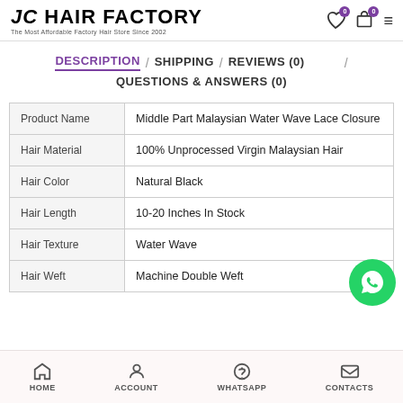JC HAIR FACTORY — The Most Affordable Factory Hair Store Since 2002
DESCRIPTION / SHIPPING / REVIEWS (0) / QUESTIONS & ANSWERS (0)
|  |  |
| --- | --- |
| Product Name | Middle Part Malaysian Water Wave Lace Closure |
| Hair Material | 100% Unprocessed Virgin Malaysian Hair |
| Hair Color | Natural Black |
| Hair Length | 10-20 Inches In Stock |
| Hair Texture | Water Wave |
| Hair Weft | Machine Double Weft |
HOME  ACCOUNT  WHATSAPP  CONTACTS